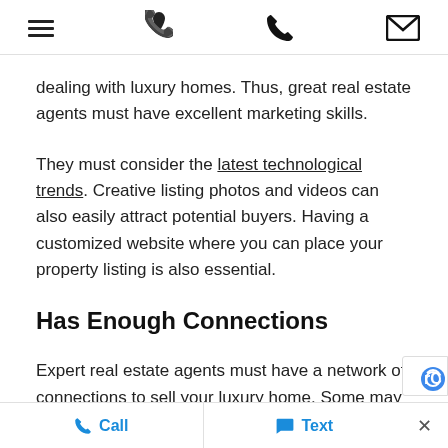[hamburger menu] [phone icon] [email icon]
dealing with luxury homes. Thus, great real estate agents must have excellent marketing skills.
They must consider the latest technological trends. Creative listing photos and videos can also easily attract potential buyers. Having a customized website where you can place your property listing is also essential.
Has Enough Connections
Expert real estate agents must have a network of connections to sell your luxury home. Some may have a contact list of direct buyers and other luxury salespeople. They must also be willing to work with
Call   Text   ×